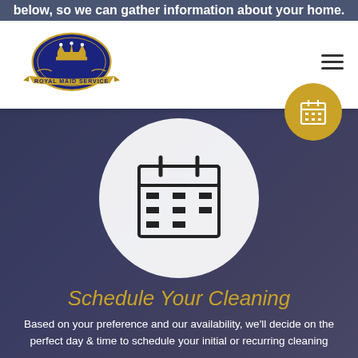below, so we can gather information about your home.
[Figure (logo): Royal Maid Service logo with crown emblem and gold banner]
[Figure (illustration): Calendar icon inside a white circle on a dark blurred background, with a gold calendar button in top right]
Schedule Your Cleaning
Based on your preference and our availability, we'll decide on the perfect day & time to schedule your initial or recurring cleaning